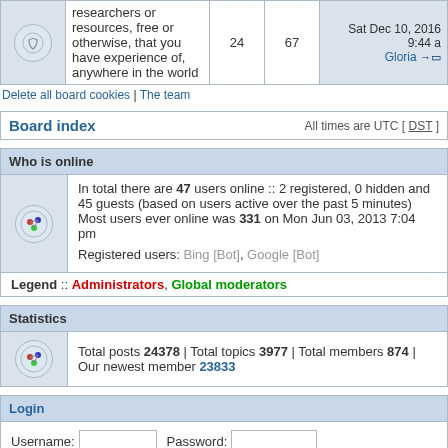| Icon | Description | Posts | Topics | Last post |
| --- | --- | --- | --- | --- |
| [icon] | researchers or resources, free or otherwise, that you have experience of, anywhere in the world | 24 | 67 | Sat Dec 10, 2016 9:44 Gloria → |
Delete all board cookies | The team
| Board index | All times are UTC [ DST ] |
| --- | --- |
Who is online
In total there are 47 users online :: 2 registered, 0 hidden and 45 guests (based on users active over the past 5 minutes) Most users ever online was 331 on Mon Jun 03, 2013 7:04 pm
Registered users: Bing [Bot], Google [Bot]
Legend :: Administrators, Global moderators
Statistics
Total posts 24378 | Total topics 3977 | Total members 874 | Our newest member 23833
Login
Username: [input] Password: [input] Log me on automatically each visit [checkbox] Login
Unread posts   No unread posts   Forum locked
Powered by phpBB® Forum Software © phpBB Group